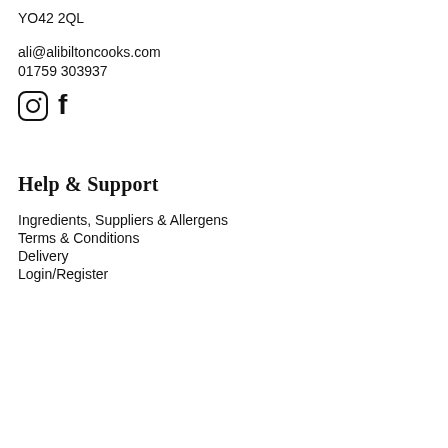YO42 2QL
ali@alibiltoncooks.com
01759 303937
[Figure (illustration): Instagram and Facebook social media icons — circular Instagram logo and bold letter 'f' for Facebook]
Help & Support
Ingredients, Suppliers & Allergens
Terms & Conditions
Delivery
Login/Register